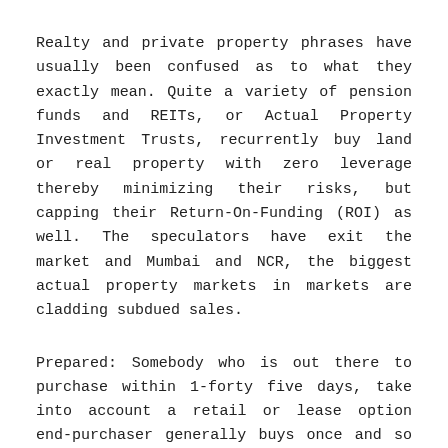Realty and private property phrases have usually been confused as to what they exactly mean. Quite a variety of pension funds and REITs, or Actual Property Investment Trusts, recurrently buy land or real property with zero leverage thereby minimizing their risks, but capping their Return-On-Funding (ROI) as well. The speculators have exit the market and Mumbai and NCR, the biggest actual property markets in markets are cladding subdued sales.
Prepared: Somebody who is out there to purchase within 1-forty five days, take into account a retail or lease option end-purchaser generally buys once and so they're out of the sport, landlords, rehabbers and wholesaler's are more likely to purchase a number of properties from you over time as they accumulate, sell or flip existing property.